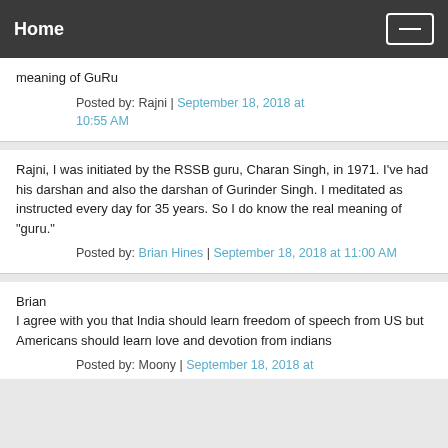Home
meaning of GuRu
Posted by: Rajni | September 18, 2018 at 10:55 AM
Rajni, I was initiated by the RSSB guru, Charan Singh, in 1971. I've had his darshan and also the darshan of Gurinder Singh. I meditated as instructed every day for 35 years. So I do know the real meaning of "guru."
Posted by: Brian Hines | September 18, 2018 at 11:00 AM
Brian
I agree with you that India should learn freedom of speech from US but Americans should learn love and devotion from indians
Posted by: Moony | September 18, 2018 at